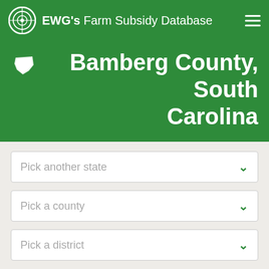EWG's Farm Subsidy Database
Bamberg County, South Carolina
Pick another state
Pick a county
Pick a district
Coronavirus Food Assistance Program payments in Bamberg County, South Carolina total